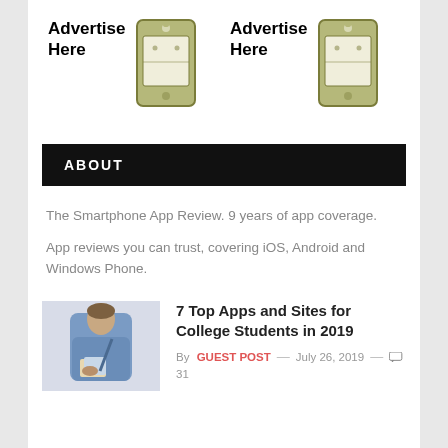[Figure (illustration): Two 'Advertise Here' placeholder ad blocks, each with bold text and a stylized phone/tablet icon]
ABOUT
The Smartphone App Review. 9 years of app coverage.
App reviews you can trust, covering iOS, Android and Windows Phone.
[Figure (photo): Photo of a person in a denim jacket holding books, seen from the side]
7 Top Apps and Sites for College Students in 2019
By GUEST POST — July 26, 2019 — 31